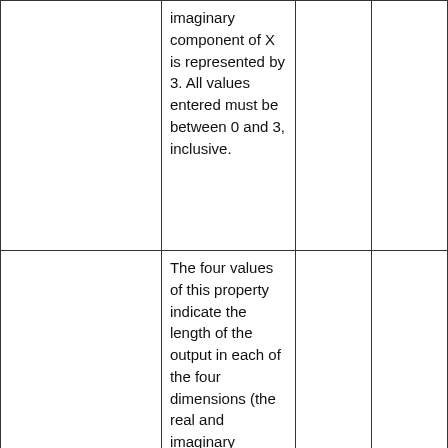|  | imaginary component of X is represented by 3. All values entered must be between 0 and 3, inclusive. |  |  |
|  | The four values of this property indicate the length of the output in each of the four dimensions (the real and imaginary components |  |  |